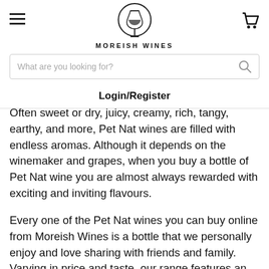MOREISH WINES
What are you looking for?
Login/Register
Often sweet or dry, juicy, creamy, rich, tangy, earthy, and more, Pet Nat wines are filled with endless aromas. Although it depends on the winemaker and grapes, when you buy a bottle of Pet Nat wine you are almost always rewarded with exciting and inviting flavours.
Every one of the Pet Nat wines you can buy online from Moreish Wines is a bottle that we personally enjoy and love sharing with friends and family. Varying in price and taste, our range features an array of